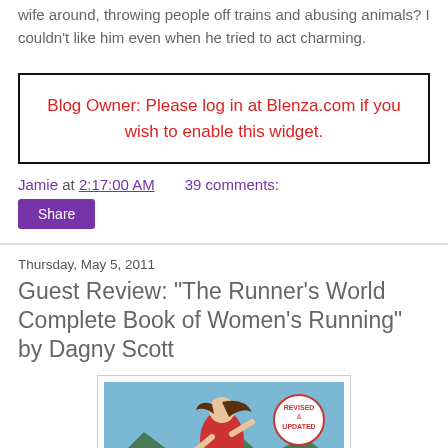wife around, throwing people off trains and abusing animals? I couldn't like him even when he tried to act charming.
Blog Owner: Please log in at Blenza.com if you wish to enable this widget.
Jamie at 2:17:00 AM    39 comments:
Share
Thursday, May 5, 2011
Guest Review: "The Runner's World Complete Book of Women's Running" by Dagny Scott
[Figure (photo): Book cover of The Runner's World Complete Book of Women's Running by Dagny Scott, showing a woman running with a Revised & Updated badge]